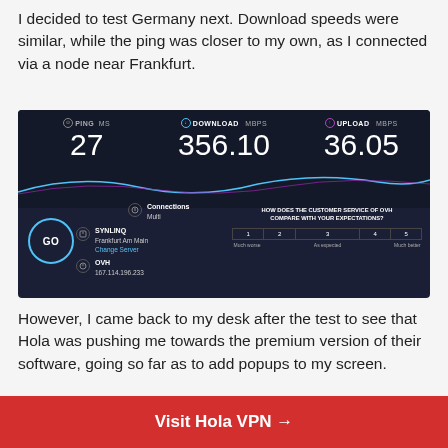I decided to test Germany next. Download speeds were similar, while the ping was closer to my own, as I connected via a node near Frankfurt.
[Figure (screenshot): Speedtest.net result screenshot showing PING 27 ms, DOWNLOAD 356.10 Mbps, UPLOAD 36.05 Mbps. Server: SYNLINQ, Frankfurt Am Main. ISP: OVH, IP 167.114.196.233. Survey popup asking 'HOW DOES THE CUSTOMER SERVICE OF OVH COMPARE WITH YOUR EXPECTATIONS?' with rating scale 1-5 (Much worse to Much better).]
However, I came back to my desk after the test to see that Hola was pushing me towards the premium version of their software, going so far as to add popups to my screen.
Visit Hola VPN →